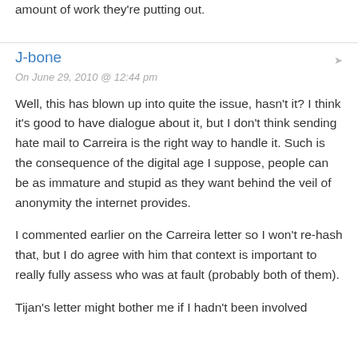amount of work they're putting out.
J-bone
On June 29, 2010 @ 12:44 pm
Well, this has blown up into quite the issue, hasn't it? I think it's good to have dialogue about it, but I don't think sending hate mail to Carreira is the right way to handle it. Such is the consequence of the digital age I suppose, people can be as immature and stupid as they want behind the veil of anonymity the internet provides.
I commented earlier on the Carreira letter so I won't re-hash that, but I do agree with him that context is important to really fully assess who was at fault (probably both of them).
Tijan's letter might bother me if I hadn't been involved